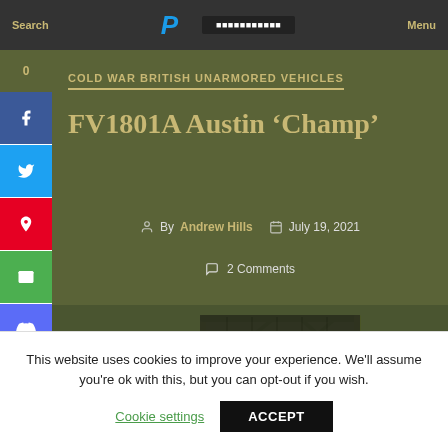Search | [PayPal logo] | [Donate] | Menu
0
COLD WAR BRITISH UNARMORED VEHICLES
FV1801A Austin 'Champ'
By Andrew Hills   July 19, 2021
2 Comments
[Figure (photo): Partial view of an olive-green FV1801A Austin Champ military vehicle with a black canvas roof/hood, showing the front quarter panel, grille, and roll bar structure.]
This website uses cookies to improve your experience. We'll assume you're ok with this, but you can opt-out if you wish.
Cookie settings   ACCEPT